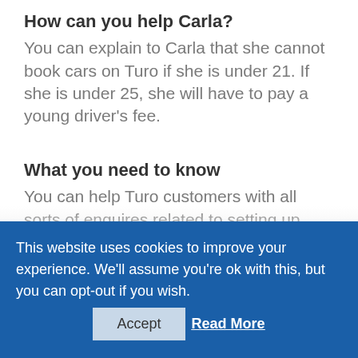How can you help Carla?
You can explain to Carla that she cannot book cars on Turo if she is under 21. If she is under 25, she will have to pay a young driver’s fee.
What you need to know
You can help Turo customers with all sorts of enquires related to setting up their account, as well as the requirements to be able to rent on
This website uses cookies to improve your experience. We'll assume you're ok with this, but you can opt-out if you wish.
Accept    Read More